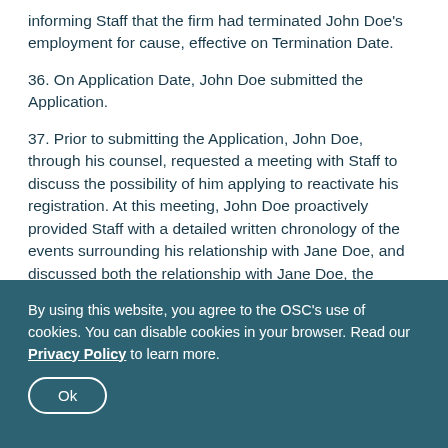informing Staff that the firm had terminated John Doe's employment for cause, effective on Termination Date.
36. On Application Date, John Doe submitted the Application.
37. Prior to submitting the Application, John Doe, through his counsel, requested a meeting with Staff to discuss the possibility of him applying to reactivate his registration. At this meeting, John Doe proactively provided Staff with a detailed written chronology of the events surrounding his relationship with Jane Doe, and discussed both the relationship with Jane Doe, the
By using this website, you agree to the OSC's use of cookies. You can disable cookies in your browser. Read our Privacy Policy to learn more.
Ok